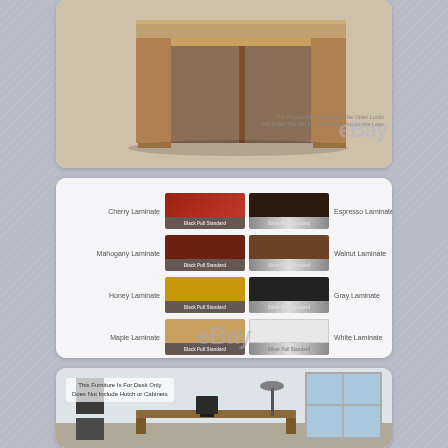[Figure (photo): Product photo of a wooden executive desk (walnut/brown laminate finish) shown from the side/front angle against a light background, with eBay watermark and small disclaimer text]
[Figure (infographic): Color swatch grid showing 8 laminate finish options for the desk: Cherry Laminate (Black Pull Standard / Espresso Laminate), Mahogany Laminate (Black Pull Standard / Walnut Laminate), Honey Laminate (Black Pull Standard / Gray Laminate), Maple Laminate (Black Pull Standard / White Laminate, Silver Pull Standard), with eBay watermark]
[Figure (photo): Room setting photo showing the desk in an office environment with framed wall art and large windows. Overlay text reads: 'This Furniture Is For Desk Only / Does Not Include Hutch or Cabinets']